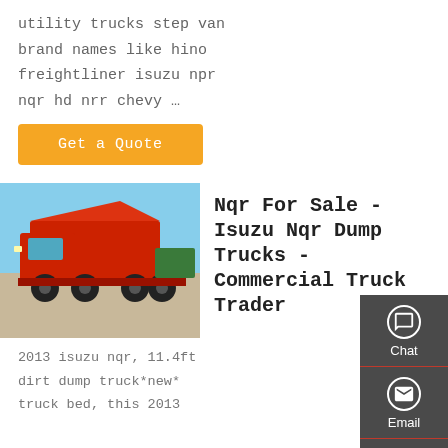utility trucks step van brand names like hino freightliner isuzu npr nqr hd nrr chevy …
Get a Quote
[Figure (photo): Red heavy-duty dump truck (Isuzu NQR style) parked outdoors against a blue sky background]
Nqr For Sale - Isuzu Nqr Dump Trucks - Commercial Truck Trader
2013 isuzu nqr, 11.4ft dirt dump truck*new* truck bed, this 2013
[Figure (other): Side panel with Chat, Email, Contact, and Top navigation buttons on dark grey background]